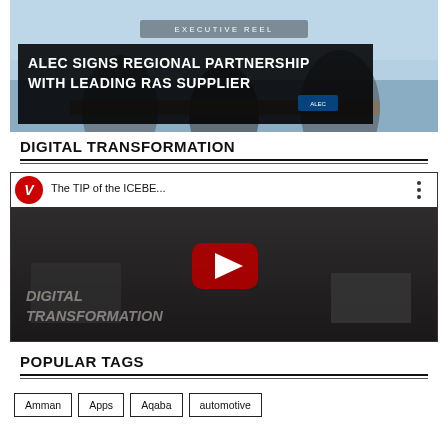[Figure (screenshot): Executive Reel thumbnail showing three men at a table with city backdrop. Text overlay: 'EXECUTIVE REEL' and 'ALEC SIGNS REGIONAL PARTNERSHIP WITH LEADING RAS SUPPLIER']
DIGITAL TRANSFORMATION
[Figure (screenshot): YouTube video thumbnail with Vedanta logo circle, title 'The TIP of the ICEBE...' and play button overlay. Background shows 'DIGITAL TRANSFORMATION' text.]
POPULAR TAGS
Amman
Apps
Aqaba
automotive